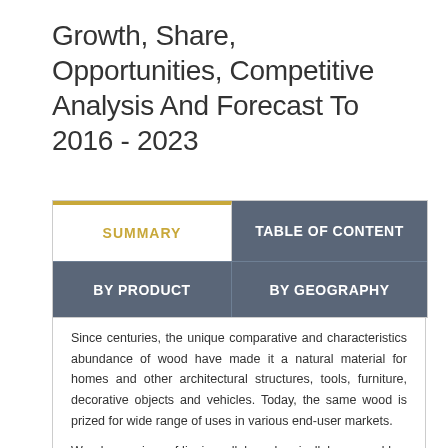Growth, Share, Opportunities, Competitive Analysis And Forecast To 2016 - 2023
| SUMMARY | TABLE OF CONTENT |
| --- | --- |
| BY PRODUCT | BY GEOGRAPHY |
Since centuries, the unique comparative and characteristics abundance of wood have made it a natural material for homes and other architectural structures, tools, furniture, decorative objects and vehicles. Today, the same wood is prized for wide range of uses in various end-user markets.
Wood comprises of lignin, cellulose, hemicelluloses, and low amount of extraneous materials which is contained in the cellular structure. Variations in the volume and characteristics